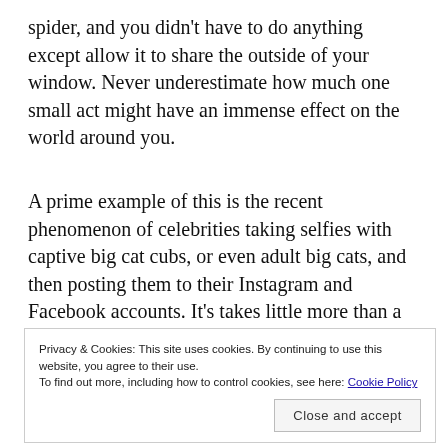spider, and you didn't have to do anything except allow it to share the outside of your window. Never underestimate how much one small act might have an immense effect on the world around you.
A prime example of this is the recent phenomenon of celebrities taking selfies with captive big cat cubs, or even adult big cats, and then posting them to their Instagram and Facebook accounts. It's takes little more than a few seconds to do this, yet the ramifications are exponential. With millions of fans around the world, the
Privacy & Cookies: This site uses cookies. By continuing to use this website, you agree to their use. To find out more, including how to control cookies, see here: Cookie Policy
subsequently forgotten about. The truth is that fully